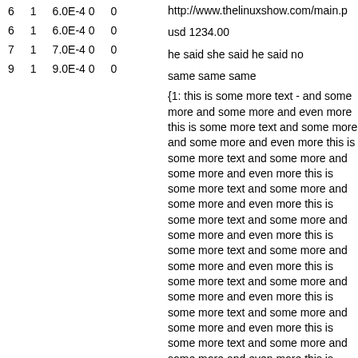| 6 | 1 | 6.0E-4 0 | 0 |
| 6 | 1 | 6.0E-4 0 | 0 |
| 7 | 1 | 7.0E-4 0 | 0 |
| 9 | 1 | 9.0E-4 0 | 0 |
http://www.thelinuxshow.com/main.p
usd 1234.00
he said she said he said no
same same same
{1: this is some more text - and some more and some more and even more this is some more text and some more and some more and even more this is some more text and some more and some more and even more this is some more text and some more and some more and even more this is some more text and some more and some more and even more this is some more text and some more and some more and even more this is some more text and some more and some more and even more this is some more text and some more and some more and even more this is some more text and some more and some more and even more this is some more text and some more and some more and even more this is some more text and some more and some more and even more this is some more text and some more and some more and even more this is some more text and some more and some more and even more this is some more tex